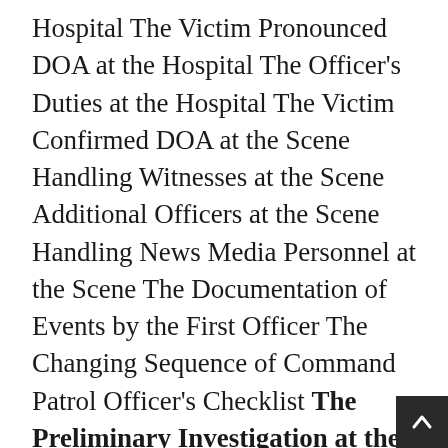Hospital The Victim Pronounced DOA at the Hospital The Officer's Duties at the Hospital The Victim Confirmed DOA at the Scene Handling Witnesses at the Scene Additional Officers at the Scene Handling News Media Personnel at the Scene The Documentation of Events by the First Officer The Changing Sequence of Command Patrol Officer's Checklist The Preliminary Investigation at the Scene: The Detectives Initial Receipt of Information Arrival at the Scene Preliminary Steps to Be Taken by Detectives upon Arrival—Checklist Describing the Scene Implementing Crime Scene Procedures Direction of Uniformed Personnel at the